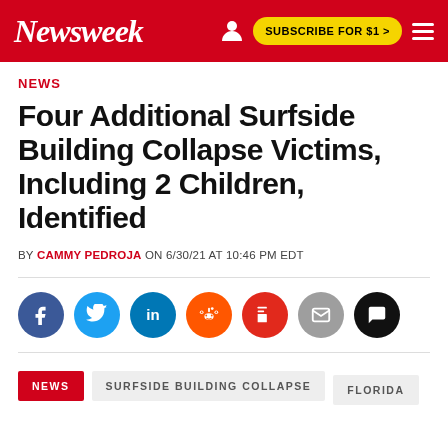Newsweek | SUBSCRIBE FOR $1 >
NEWS
Four Additional Surfside Building Collapse Victims, Including 2 Children, Identified
BY CAMMY PEDROJA ON 6/30/21 AT 10:46 PM EDT
[Figure (infographic): Social share icons row: Facebook, Twitter, LinkedIn, Reddit, Flipboard, Email, Comments]
NEWS   SURFSIDE BUILDING COLLAPSE   FLORIDA